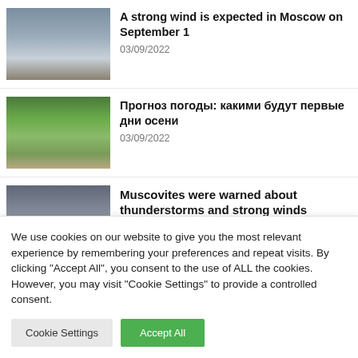[Figure (photo): Photo of a church building with cloudy sky and water in foreground]
A strong wind is expected in Moscow on September 1
03/09/2022
[Figure (photo): Photo of a park alley with trees and a person walking with umbrella]
Прогноз погоды: какими будут первые дни осени
03/09/2022
[Figure (photo): Photo of a stormy sky with dark clouds]
Muscovites were warned about thunderstorms and strong winds
We use cookies on our website to give you the most relevant experience by remembering your preferences and repeat visits. By clicking "Accept All", you consent to the use of ALL the cookies. However, you may visit "Cookie Settings" to provide a controlled consent.